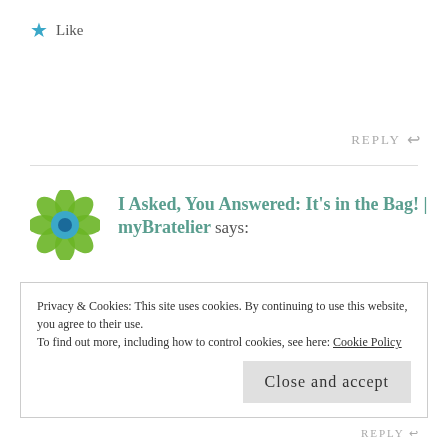★ Like
REPLY ↩
I Asked, You Answered: It's in the Bag! | myBratelier says:
JULY 27, 2015 AT 1:05 PM
[...] a recent post, I asked the question uppermost in my mind at the time: Underwear… Or Not to Wear? In which I confessed my hesitations about actually
Privacy & Cookies: This site uses cookies. By continuing to use this website, you agree to their use.
To find out more, including how to control cookies, see here: Cookie Policy
Close and accept
REPLY ↩